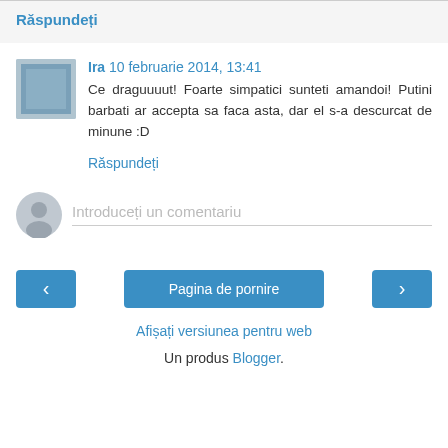Răspundeți
Ira 10 februarie 2014, 13:41
Ce draguuuut! Foarte simpatici sunteti amandoi! Putini barbati ar accepta sa faca asta, dar el s-a descurcat de minune :D
Răspundeți
Introduceți un comentariu
‹
Pagina de pornire
›
Afișați versiunea pentru web
Un produs Blogger.